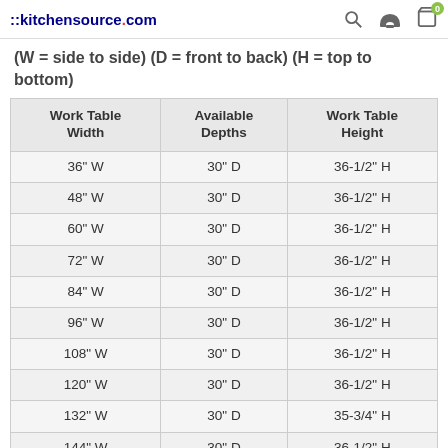::kitchensource.com
(W = side to side) (D = front to back) (H = top to bottom)
| Work Table Width | Available Depths | Work Table Height |
| --- | --- | --- |
| 36" W | 30" D | 36-1/2" H |
| 48" W | 30" D | 36-1/2" H |
| 60" W | 30" D | 36-1/2" H |
| 72" W | 30" D | 36-1/2" H |
| 84" W | 30" D | 36-1/2" H |
| 96" W | 30" D | 36-1/2" H |
| 108" W | 30" D | 36-1/2" H |
| 120" W | 30" D | 36-1/2" H |
| 132" W | 30" D | 35-3/4" H |
| 144" W | 30" D | 36-1/2" H |